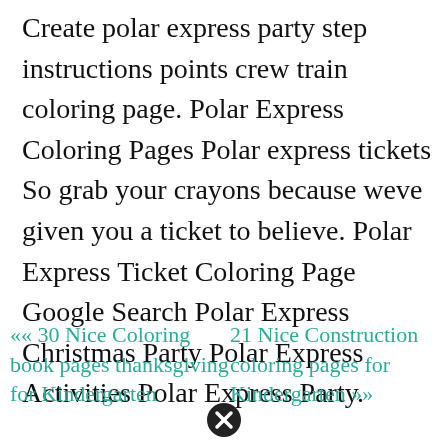Create polar express party step instructions points crew train coloring page. Polar Express Coloring Pages Polar express tickets So grab your crayons because weve given you a ticket to believe. Polar Express Ticket Coloring Page Google Search Polar Express Christmas Party Polar Express Activities Polar Express Party.
«« 30 Nice Coloring book pages thanksgiving for Kindergarten
21 Nice Construction coloring pages for Kindergarten »»